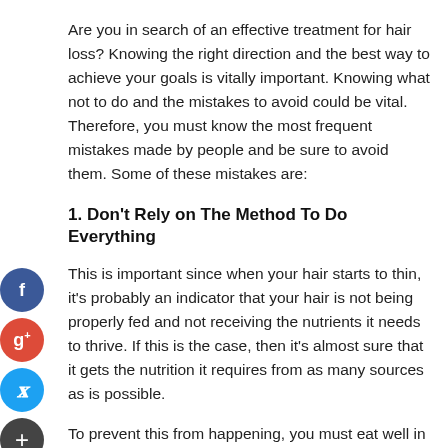Are you in search of an effective treatment for hair loss? Knowing the right direction and the best way to achieve your goals is vitally important. Knowing what not to do and the mistakes to avoid could be vital. Therefore, you must know the most frequent mistakes made by people and be sure to avoid them. Some of these mistakes are:
1. Don't Rely on The Method To Do Everything
This is important since when your hair starts to thin, it's probably an indicator that your hair is not being properly fed and not receiving the nutrients it needs to thrive. If this is the case, then it's almost sure that it gets the nutrition it requires from as many sources as is possible.
To prevent this from happening, you must eat well in addition to the treatment you prefer. If you want to get